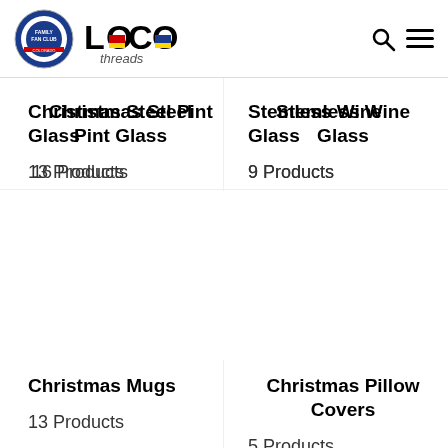FAMILY FAN CLUB | LOCO threads
Christmas Steel Pint Glass
16 Products
Stemless Wine Glass
9 Products
Christmas Mugs
13 Products
Christmas Pillow Covers
5 Products